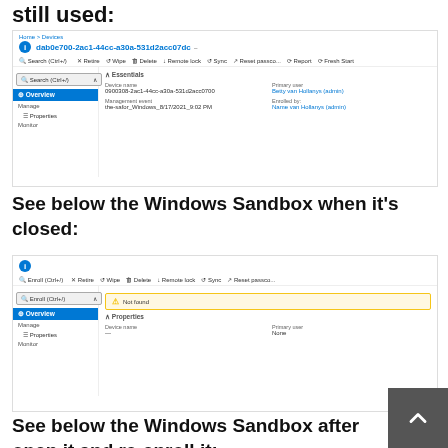still used:
[Figure (screenshot): Azure portal screenshot showing a device with GUID dab0e700-2ac1-44cc-a30a-531d2acc07dc, with Overview selected in sidebar, showing Essentials panel with device name and management event details.]
See below the Windows Sandbox when it's closed:
[Figure (screenshot): Azure portal screenshot showing a device page with 'Not found' warning banner in orange/yellow, with empty Essentials panel showing Device name and Primary user fields as dashes.]
See below the Windows Sandbox after open it and re-enroll it:
[Figure (screenshot): Azure portal screenshot showing device dab0e708-2ac1-44cc-a30a-531d2acc37cc with Overview selected, Essentials panel showing device name and management details with Primary user link.]